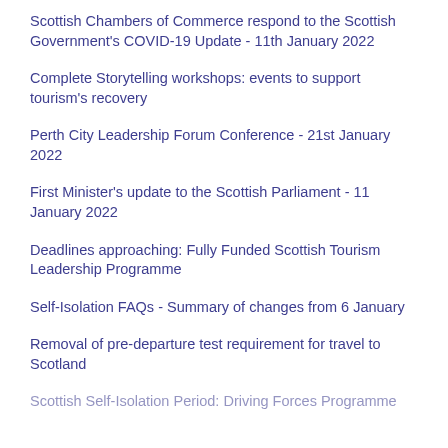Scottish Chambers of Commerce respond to the Scottish Government's COVID-19 Update - 11th January 2022
Complete Storytelling workshops: events to support tourism's recovery
Perth City Leadership Forum Conference - 21st January 2022
First Minister's update to the Scottish Parliament - 11 January 2022
Deadlines approaching: Fully Funded Scottish Tourism Leadership Programme
Self-Isolation FAQs - Summary of changes from 6 January
Removal of pre-departure test requirement for travel to Scotland
Scottish Self-Isolation Period: Driving Forces Programme